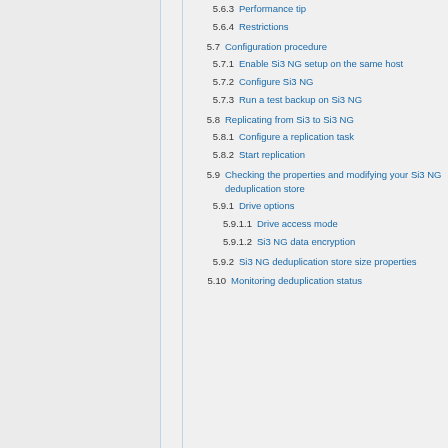5.6.3  Performance tip
5.6.4  Restrictions
5.7  Configuration procedure
5.7.1  Enable Si3 NG setup on the same host
5.7.2  Configure Si3 NG
5.7.3  Run a test backup on Si3 NG
5.8  Replicating from Si3 to Si3 NG
5.8.1  Configure a replication task
5.8.2  Start replication
5.9  Checking the properties and modifying your Si3 NG deduplication store
5.9.1  Drive options
5.9.1.1  Drive access mode
5.9.1.2  Si3 NG data encryption
5.9.2  Si3 NG deduplication store size properties
5.10  Monitoring deduplication status